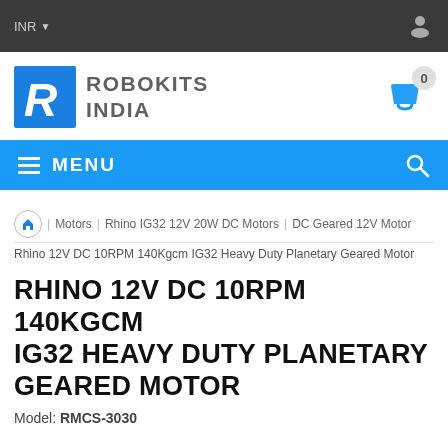INR
[Figure (logo): Robokits India logo with blue R icon and grey text ROBOKITS INDIA]
MENU
Motors | Rhino IG32 12V 20W DC Motors | DC Geared 12V Motor | Rhino 12V DC 10RPM 140Kgcm IG32 Heavy Duty Planetary Geared Motor
RHINO 12V DC 10RPM 140KGCM IG32 HEAVY DUTY PLANETARY GEARED MOTOR
Model: RMCS-3030